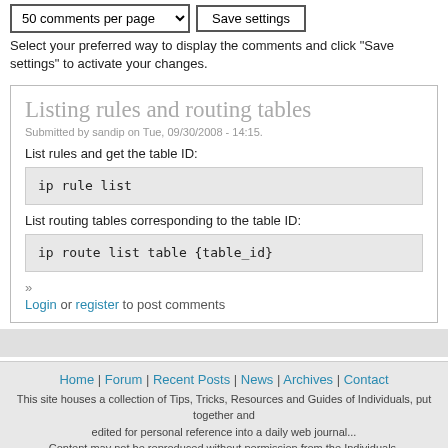50 comments per page [dropdown] Save settings
Select your preferred way to display the comments and click "Save settings" to activate your changes.
Listing rules and routing tables
Submitted by sandip on Tue, 09/30/2008 - 14:15.
List rules and get the table ID:
List routing tables corresponding to the table ID:
» Login or register to post comments
Home | Forum | Recent Posts | News | Archives | Contact
This site houses a collection of Tips, Tricks, Resources and Guides of Individuals, put together and edited for personal reference into a daily web journal...
Content may not be reproduced without permission from the Individuals.
Copyright © post 2003 LINUXweBLog.COM